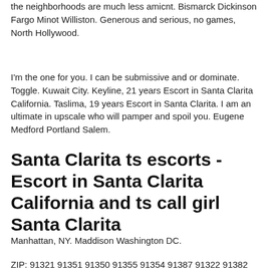the neighborhoods are much less amicnt. Bismarck Dickinson Fargo Minot Williston. Generous and serious, no games, North Hollywood.
I'm the one for you. I can be submissive and or dominate. Toggle. Kuwait City. Keyline, 21 years Escort in Santa Clarita California. Taslima, 19 years Escort in Santa Clarita. I am an ultimate in upscale who will pamper and spoil you. Eugene Medford Portland Salem.
Santa Clarita ts escorts - Escort in Santa Clarita California and ts call girl Santa Clarita
Manhattan, NY. Maddison Washington DC.
ZIP: 91321 91351 91350 91355 91354 91387 91322 91382